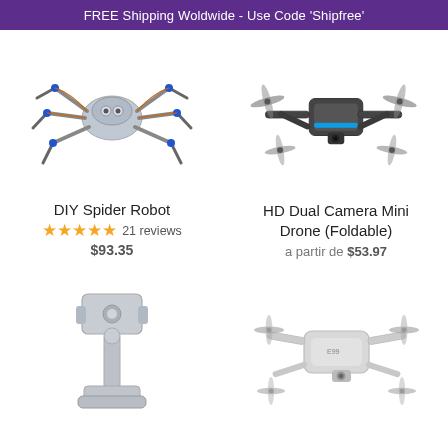FREE Shipping Woldwide - Use Code 'Shipfree'
[Figure (photo): DIY Spider Robot with blue servo motors and metal legs]
[Figure (photo): HD Dual Camera Mini Drone (Foldable) in dark grey with blue lights]
DIY Spider Robot
★★★★★ 21 reviews
$93.35
HD Dual Camera Mini Drone (Foldable)
a partir de $53.97
[Figure (photo): Phone or camera mount/holder accessory in silver/grey]
[Figure (photo): Small foldable mini drone in white/grey]